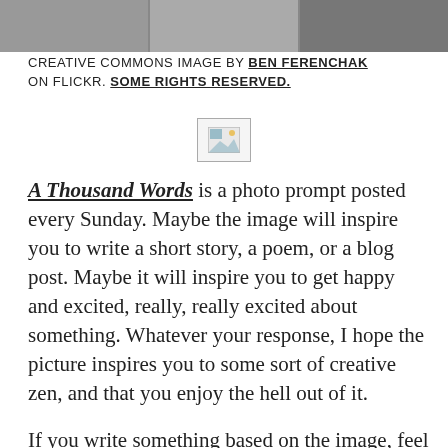[Figure (photo): Cropped top portion of a photo showing people, partially visible, dark toned]
CREATIVE COMMONS IMAGE BY BEN FERENCHAK ON FLICKR. SOME RIGHTS RESERVED.
[Figure (photo): Small broken/placeholder image icon]
A Thousand Words is a photo prompt posted every Sunday. Maybe the image will inspire you to write a short story, a poem, or a blog post. Maybe it will inspire you to get happy and excited, really, really excited about something. Whatever your response, I hope the picture inspires you to some sort of creative zen, and that you enjoy the hell out of it.

If you write something based on the image, feel free to share a link in the comments section. Also feel free to use the photo on your blog, just be sure to give proper credit, which I will always